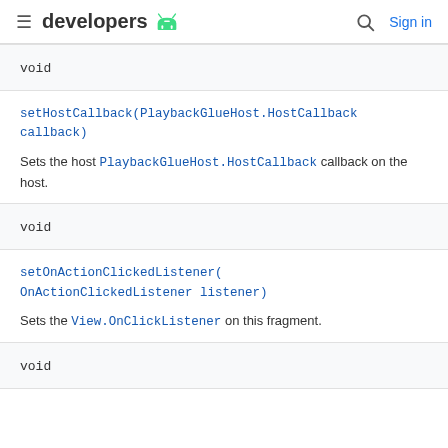developers (Android logo) | Search | Sign in
void
setHostCallback(PlaybackGlueHost.HostCallback callback)
Sets the host PlaybackGlueHost.HostCallback callback on the host.
void
setOnActionClickedListener(OnActionClickedListener listener)
Sets the View.OnClickListener on this fragment.
void